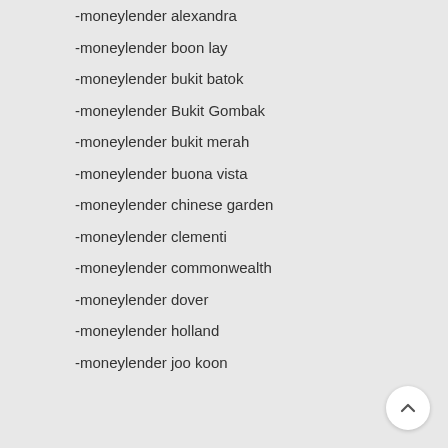-moneylender alexandra
-moneylender boon lay
-moneylender bukit batok
-moneylender Bukit Gombak
-moneylender bukit merah
-moneylender buona vista
-moneylender chinese garden
-moneylender clementi
-moneylender commonwealth
-moneylender dover
-moneylender holland
-moneylender joo koon